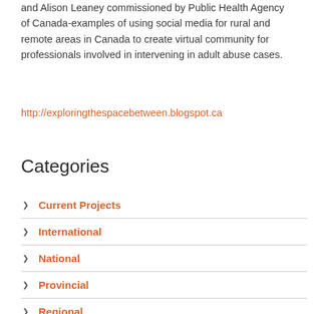and Alison Leaney commissioned by Public Health Agency of Canada-examples of using social media for rural and remote areas in Canada to create virtual community for professionals involved in intervening in adult abuse cases.
http://exploringthespacebetween.blogspot.ca
Categories
Current Projects
International
National
Provincial
Regional